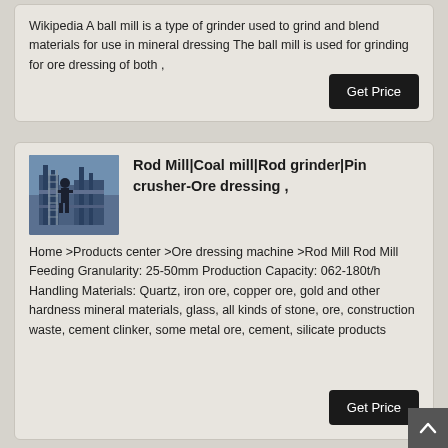Wikipedia A ball mill is a type of grinder used to grind and blend materials for use in mineral dressing The ball mill is used for grinding for ore dressing of both ,
Rod Mill|Coal mill|Rod grinder|Pin crusher-Ore dressing ,
Home >Products center >Ore dressing machine >Rod Mill Rod Mill Feeding Granularity: 25-50mm Production Capacity: 062-180t/h Handling Materials: Quartz, iron ore, copper ore, gold and other hardness mineral materials, glass, all kinds of stone, ore, construction waste, cement clinker, some metal ore, cement, silicate products